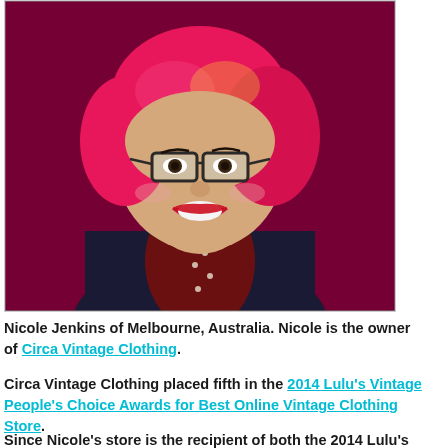[Figure (photo): Portrait photo of Nicole Jenkins, a woman with bright pink/magenta short hair, glasses, red lipstick, smiling. She is wearing a dark navy top and a dark red/maroon polka dot scarf/tie. The background is deep red/maroon. The photo has a warm vintage-like filter.]
Nicole Jenkins of Melbourne, Australia. Nicole is the owner of Circa Vintage Clothing.
Circa Vintage Clothing placed fifth in the 2014 Lulu's Vintage People's Choice Awards for Best Online Vintage Clothing Store.
Since Nicole's store is the recipient of both the 2014 Lulu's